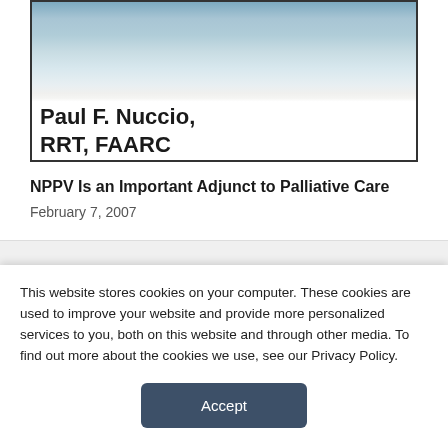[Figure (photo): Book or publication cover image showing blurred background with text 'Paul F. Nuccio, RRT, FAARC' overlaid]
NPPV Is an Important Adjunct to Palliative Care
February 7, 2007
This website stores cookies on your computer. These cookies are used to improve your website and provide more personalized services to you, both on this website and through other media. To find out more about the cookies we use, see our Privacy Policy.
Accept